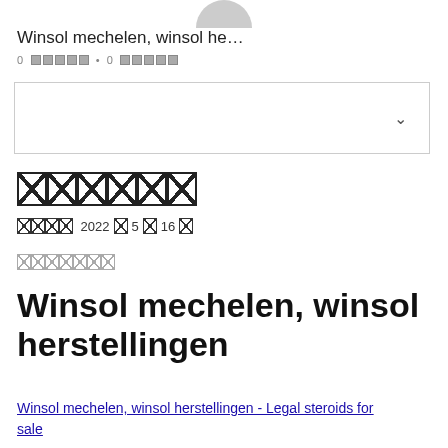Winsol mechelen, winsol he…
0 [redacted] • 0 [redacted]
[Figure (other): Dropdown/select box UI element with chevron]
[redacted large blocks]
[redacted] 2022[redacted]5[redacted]16[redacted]
[redacted category blocks]
Winsol mechelen, winsol herstellingen
Winsol mechelen, winsol herstellingen - Legal steroids for sale